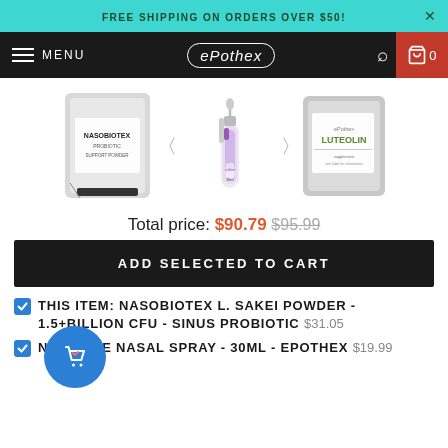FREE SHIPPING ON ORDERS OVER $50!
[Figure (screenshot): ePothex website navigation bar with hamburger menu, logo, search icon, and cart with 0 items]
[Figure (photo): Three product images: Nasobiotex probiotic powder bag, nasal spray bottle, and Luteolin supplement bag with navigation arrows between them]
Total price: $90.79 $95.99
ADD SELECTED TO CART
THIS ITEM: NASOBIOTEX L. SAKEI POWDER - 1.5+BILLION CFU - SINUS PROBIOTIC $31.05
NE IODINE NASAL SPRAY - 30ML - EPOTHEX $19.99